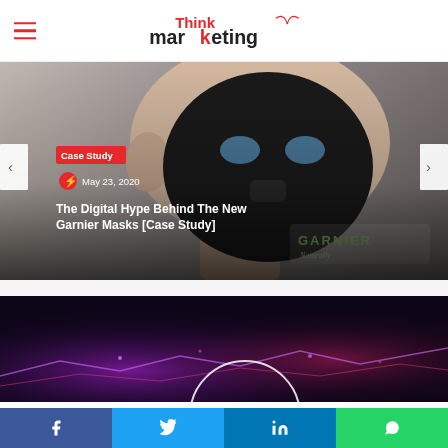Think Marketing
[Figure (photo): Woman wearing a black Garnier face mask, looking at camera, with Garnier Naturally logo visible. Overlay text includes 'Case Study' badge, date 'May 23, 2020', and article title 'The Digital Hype Behind The New Garnier Masks [Case Study]']
The Digital Hype Behind The New Garnier Masks [Case Study]
[Figure (photo): Dark abstract image with purple/pink glowing lines, bottom portion of a second article card]
Facebook | Twitter | LinkedIn | WhatsApp share buttons